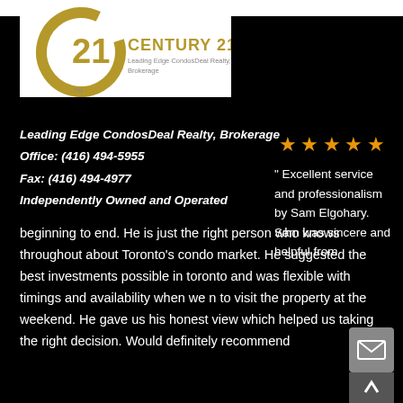[Figure (logo): Century 21 Leading Edge CondosDeal Realty, Brokerage logo — large golden C with 21 inside, company name text]
Leading Edge CondosDeal Realty, Brokerage
Office: (416) 494-5955
Fax: (416) 494-4977
Independently Owned and Operated
[Figure (other): Five orange/gold star rating icons]
" Excellent service and professionalism by Sam Elgohary. Sam was sincere and helpful from beginning to end. He is just the right person who knows throughout about Toronto's condo market. He suggested the best investments possible in toronto and was flexible with timings and availability when we need to visit the property at the weekend. He gave us his honest view which helped us taking the right decision. Would definitely recommend